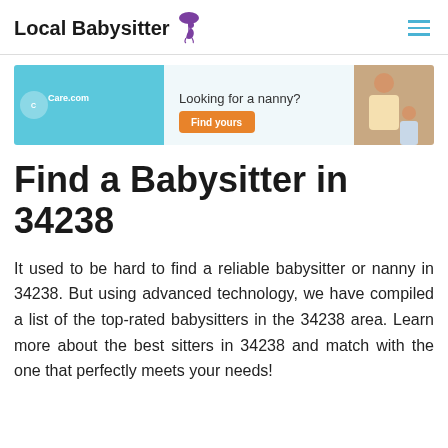Local Babysitter
[Figure (screenshot): Care.com advertisement banner: light blue background with Care.com logo, text 'Looking for a nanny?' and orange 'Find yours' button, with photo of woman and child on right side.]
Find a Babysitter in 34238
It used to be hard to find a reliable babysitter or nanny in 34238. But using advanced technology, we have compiled a list of the top-rated babysitters in the 34238 area. Learn more about the best sitters in 34238 and match with the one that perfectly meets your needs!